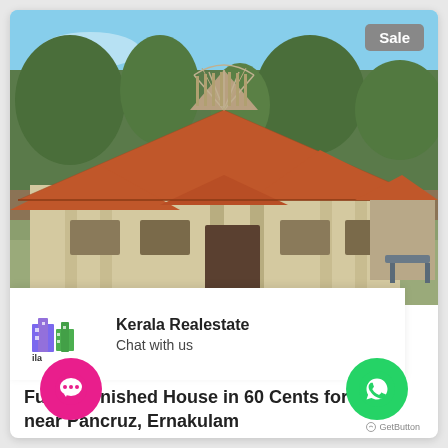[Figure (photo): Exterior photo of a Kerala-style single storey house with a distinctive red/terracotta tiled roof featuring a decorative gabled dormer with fan/sunburst woodwork, white walls, columns, and surrounded by green trees under a blue sky. A 'Sale' badge appears in the upper right corner.]
Sale
[Figure (logo): Kerala Realestate logo showing buildings icon in blue and green with text 'ila Estate' and tagline 'of Foremost Rea']
Kerala Realestate
Chat with us
Fully Furnished House in 60 Cents for Sale near Pancruz, Ernakulam
[Figure (illustration): Pink circular chat/messaging button with three dots icon]
[Figure (illustration): Green circular WhatsApp button]
GetButton